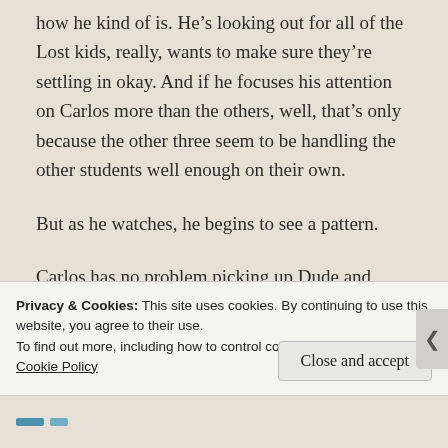how he kind of is. He's looking out for all of the Lost kids, really, wants to make sure they're settling in okay. And if he focuses his attention on Carlos more than the others, well, that's only because the other three seem to be handling the other students well enough on their own.
But as he watches, he begins to see a pattern.
Carlos has no problem picking up Dude and,
Privacy & Cookies: This site uses cookies. By continuing to use this website, you agree to their use.
To find out more, including how to control cookies, see here:
Cookie Policy